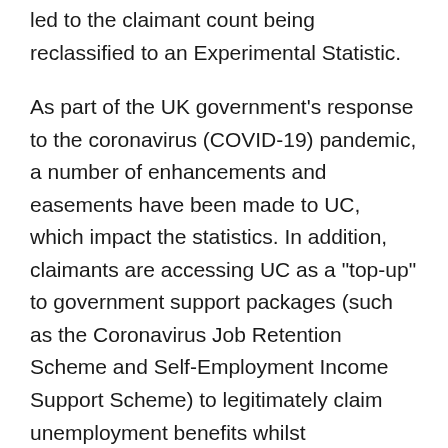led to the claimant count being reclassified to an Experimental Statistic.
As part of the UK government's response to the coronavirus (COVID-19) pandemic, a number of enhancements and easements have been made to UC, which impact the statistics. In addition, claimants are accessing UC as a "top-up" to government support packages (such as the Coronavirus Job Retention Scheme and Self-Employment Income Support Scheme) to legitimately claim unemployment benefits whilst "furloughed". A proportion of those claimants will be employed under the International Labour Organization (ILO) definition - furloughed, or with low earnings or hours of paid work.